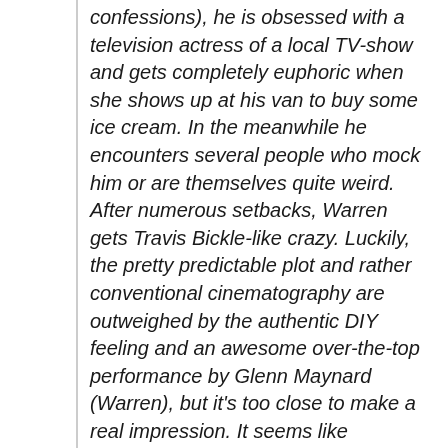confessions), he is obsessed with a television actress of a local TV-show and gets completely euphoric when she shows up at his van to buy some ice cream. In the meanwhile he encounters several people who mock him or are themselves quite weird. After numerous setbacks, Warren gets Travis Bickle-like crazy. Luckily, the pretty predictable plot and rather conventional cinematography are outweighed by the authentic DIY feeling and an awesome over-the-top performance by Glenn Maynard (Warren), but it's too close to make a real impression. It seems like Maynard and Addison Heath (the writer of Chocolate Strawberry Vanilla) are on an underground crusade though. After their collaboration on this movie, two others will follow: Under a Kaleidoscope and Bubblegum: A Detective Story. I wonder how these